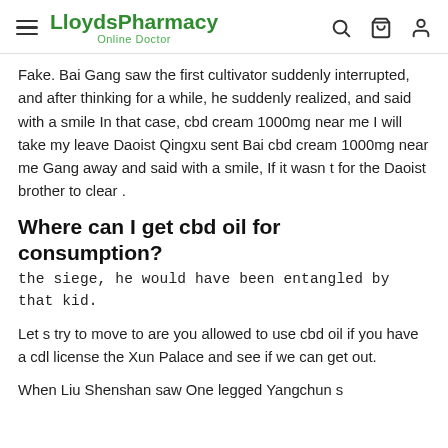LloydsPharmacy Online Doctor
Fake. Bai Gang saw the first cultivator suddenly interrupted, and after thinking for a while, he suddenly realized, and said with a smile In that case, cbd cream 1000mg near me I will take my leave Daoist Qingxu sent Bai cbd cream 1000mg near me Gang away and said with a smile, If it wasn t for the Daoist brother to clear .
Where can I get cbd oil for consumption?
the siege, he would have been entangled by that kid.
Let s try to move to are you allowed to use cbd oil if you have a cdl license the Xun Palace and see if we can get out.
When Liu Shenshan saw One legged Yangchun s